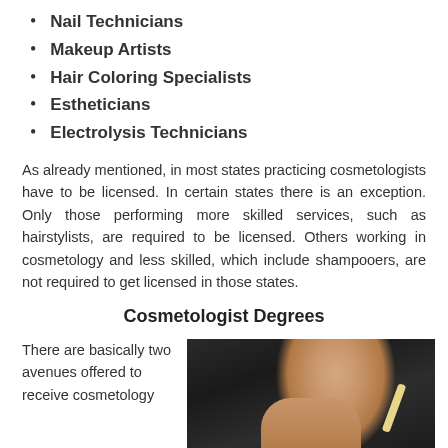Nail Technicians
Makeup Artists
Hair Coloring Specialists
Estheticians
Electrolysis Technicians
As already mentioned, in most states practicing cosmetologists have to be licensed. In certain states there is an exception. Only those performing more skilled services, such as hairstylists, are required to be licensed. Others working in cosmetology and less skilled, which include shampooers, are not required to get licensed in those states.
Cosmetologist Degrees
There are basically two avenues offered to receive cosmetology
[Figure (photo): A person in a black top holding a comb, viewed from the side/back]